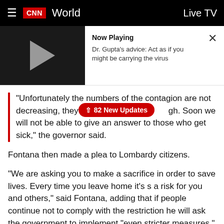≡  CNN  World    Live TV
[Figure (screenshot): Video player thumbnail with play button showing 'Now Playing' panel: Dr. Gupta's advice: Act as if you might be carrying the virus]
"Unfortunately the numbers of the contagion are not decreasing, they are growing high. Soon we will not be able to give an answer to those who get sick," the governor said.
Fontana then made a plea to Lombardy citizens.
"We are asking you to make a sacrifice in order to save lives. Every time you leave home it's s a risk for you and others," said Fontana, adding that if people continue not to comply with the restriction he will ask the government to implement "even stricter measures," the